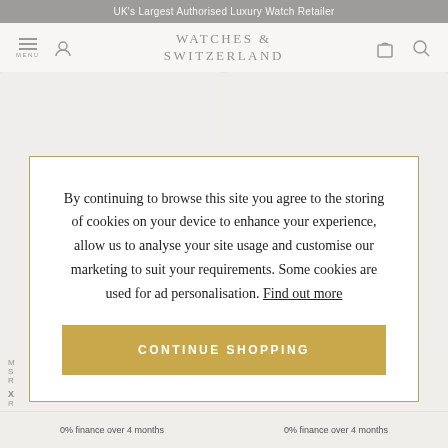UK's Largest Authorised Luxury Watch Retailer
[Figure (screenshot): Watches of Switzerland website navigation bar with hamburger menu, location icon, logo, bag icon, and search icon]
[Figure (screenshot): Two product cards showing Watches of Switzerland logo placeholders for watch products]
By continuing to browse this site you agree to the storing of cookies on your device to enhance your experience, allow us to analyse your site usage and customise our marketing to suit your requirements. Some cookies are used for ad personalisation. Find out more
CONTINUE SHOPPING
0% finance over 4 months | 0% finance over 4 months